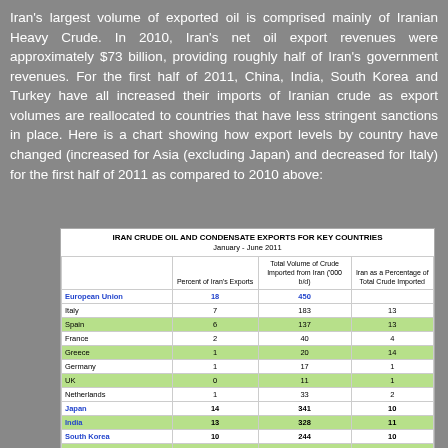Iran's largest volume of exported oil is comprised mainly of Iranian Heavy Crude. In 2010, Iran's net oil export revenues were approximately $73 billion, providing roughly half of Iran's government revenues. For the first half of 2011, China, India, South Korea and Turkey have all increased their imports of Iranian crude as export volumes are reallocated to countries that have less stringent sanctions in place. Here is a chart showing how export levels by country have changed (increased for Asia (excluding Japan) and decreased for Italy) for the first half of 2011 as compared to 2010 above:
|  | Percent of Iran's Exports | Total Volume of Crude Imported from Iran ('000 b/d) | Iran as a Percentage of Total Crude Imported |
| --- | --- | --- | --- |
| European Union | 18 | 450 |  |
| Italy | 7 | 183 | 13 |
| Spain | 6 | 137 | 13 |
| France | 2 | 40 | 4 |
| Greece | 1 | 20 | 14 |
| Germany | 1 | 17 | 1 |
| UK | 0 | 11 | 1 |
| Netherlands | 1 | 33 | 2 |
| Japan | 14 | 341 | 10 |
| India | 13 | 328 | 11 |
| South Korea | 10 | 244 | 10 |
| Turkey | 7 | 182 | 51 |
| South Africa | 4 | 98 | 25 |